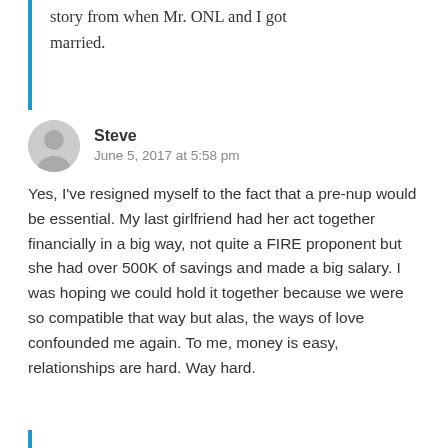story from when Mr. ONL and I got married.
Steve
June 5, 2017 at 5:58 pm
Yes, I've resigned myself to the fact that a pre-nup would be essential. My last girlfriend had her act together financially in a big way, not quite a FIRE proponent but she had over 500K of savings and made a big salary. I was hoping we could hold it together because we were so compatible that way but alas, the ways of love confounded me again. To me, money is easy, relationships are hard. Way hard.